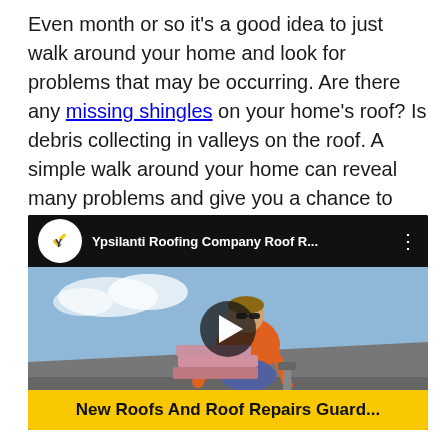Even month or so it's a good idea to just walk around your home and look for problems that may be occurring. Are there any missing shingles on your home's roof? Is debris collecting in valleys on the roof. A simple walk around your home can reveal many problems and give you a chance to stop them before they cause damage to your roof.
[Figure (screenshot): Embedded YouTube video player showing Ypsilanti Roofing Company Roof R... with a roofer in an orange shirt working on a roof, play button overlay, and yellow bottom bar with text 'New Roofs And Roof Repairs Guard...']